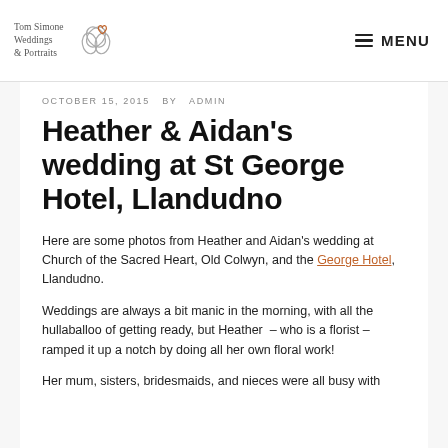Tom Simone Weddings & Portraits [logo] MENU
OCTOBER 15, 2015  BY  ADMIN
Heather & Aidan's wedding at St George Hotel, Llandudno
Here are some photos from Heather and Aidan's wedding at Church of the Sacred Heart, Old Colwyn, and the George Hotel, Llandudno.
Weddings are always a bit manic in the morning, with all the hullaballoo of getting ready, but Heather  – who is a florist – ramped it up a notch by doing all her own floral work!
Her mum, sisters, bridesmaids, and nieces were all busy with